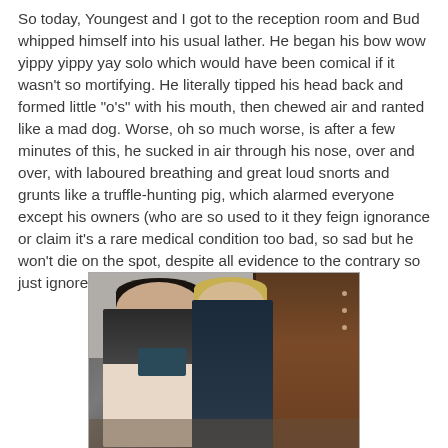So today, Youngest and I got to the reception room and Bud whipped himself into his usual lather. He began his bow wow yippy yippy yay solo which would have been comical if it wasn't so mortifying. He literally tipped his head back and formed little "o's" with his mouth, then chewed air and ranted like a mad dog. Worse, oh so much worse, is after a few minutes of this, he sucked in air through his nose, over and over, with laboured breathing and great loud snorts and grunts like a truffle-hunting pig, which alarmed everyone except his owners (who are so used to it they feign ignorance or claim it's a rare medical condition too bad, so sad but he won't die on the spot, despite all evidence to the contrary so just ignore it.) He may, in fact, be possessed.
[Figure (photo): A photograph of two people, a young man on the left drinking from a dark mug and a blonde woman on the right, both in a room with a brown door visible in the background.]